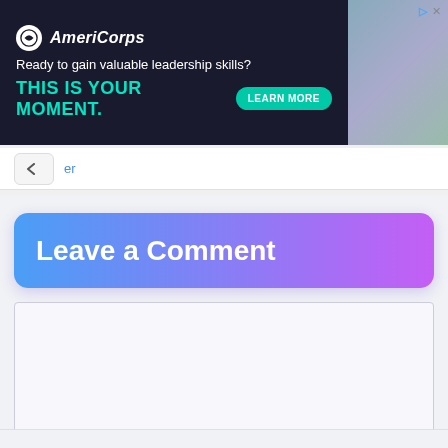[Figure (screenshot): AmeriCorps advertisement banner with dark navy background. Logo with white circle, AmeriCorps brand name, tagline 'Ready to gain valuable leadership skills?', headline 'THIS IS YOUR MOMENT.' in teal, LEARN MORE button, and photo of people on the right.]
er
Leave a Comment
[Figure (screenshot): Empty text area / comment input box with light gray-blue background and border, with resize handle in bottom right corner.]